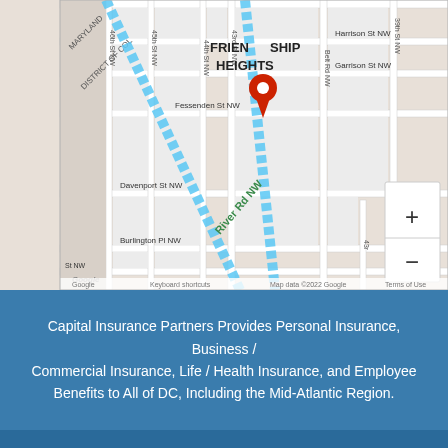[Figure (map): Google Maps view of Friendship Heights neighborhood in Washington DC, showing street grid with River Rd NW, Fessenden St NW, Davenport St NW, 43rd-46th Streets NW, Belt Rd NW, Harrison St NW, Garrison St NW. A red location pin is placed in the Friendship Heights area. Two blue highlighted route corridors are visible. Zoom controls (+/-) shown in lower right. Map attribution reads: Google logo, Keyboard shortcuts, Map data ©2022 Google, Terms of Use.]
Capital Insurance Partners Provides Personal Insurance, Business / Commercial Insurance, Life / Health Insurance, and Employee Benefits to All of DC, Including the Mid-Atlantic Region.